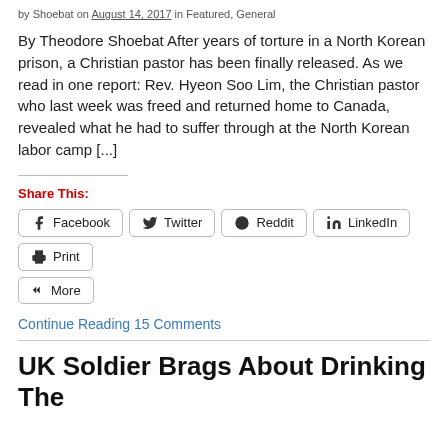by Shoebat on August 14, 2017 in Featured, General
By Theodore Shoebat After years of torture in a North Korean prison, a Christian pastor has been finally released. As we read in one report: Rev. Hyeon Soo Lim, the Christian pastor who last week was freed and returned home to Canada, revealed what he had to suffer through at the North Korean labor camp [...]
Share This:
Facebook  Twitter  Reddit  LinkedIn  Print  More
Continue Reading 15 Comments
UK Soldier Brags About Drinking The